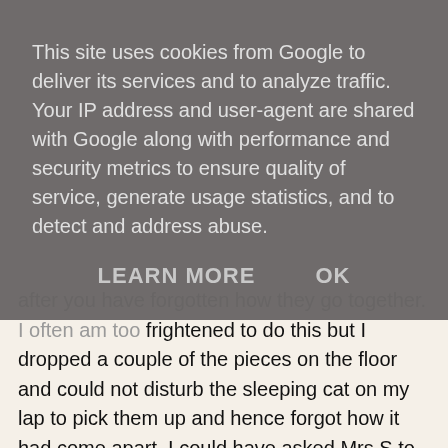This site uses cookies from Google to deliver its services and to analyze traffic. Your IP address and user-agent are shared with Google along with performance and security metrics to ensure quality of service, generate usage statistics, and to detect and address abuse.
LEARN MORE    OK
after you have forgotten how they go together. I often am too frightened to do this but I dropped a couple of the pieces on the floor and could not disturb the sleeping cat on my lap to pick them up and hence forgot how it had come apart. I could have asked Mrs S to pick it up for me but she was already pissed at me for another delivery so soon and I didn't dare risk it. The reassembly probably took me another 20 minutes to work out when I finally got around to it. Not too tough but definitely beautiful and fun.
[Figure (photo): A wooden 3D interlocking puzzle made of reddish-brown wood pieces, photographed on a dark grey/green textured surface. Copyright watermark '© Puzzlemad' in top left.]